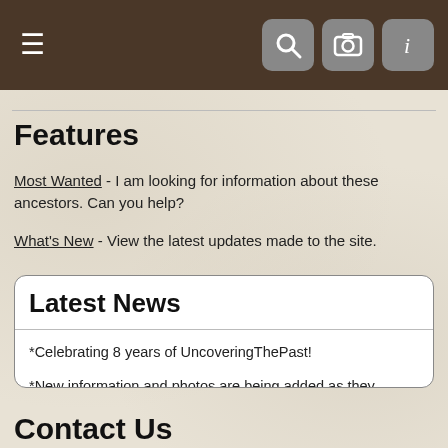≡ [search icon] [camera icon] [info icon]
Features
Most Wanted - I am looking for information about these ancestors. Can you help?
What's New - View the latest updates made to the site.
Latest News
*Celebrating 8 years of UncoveringThePast!

*New information and photos are being added as they become available. Check back often!
Contact Us